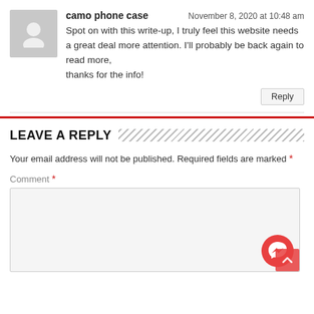camo phone case — November 8, 2020 at 10:48 am — Spot on with this write-up, I truly feel this website needs a great deal more attention. I'll probably be back again to read more, thanks for the info!
LEAVE A REPLY
Your email address will not be published. Required fields are marked *
Comment *